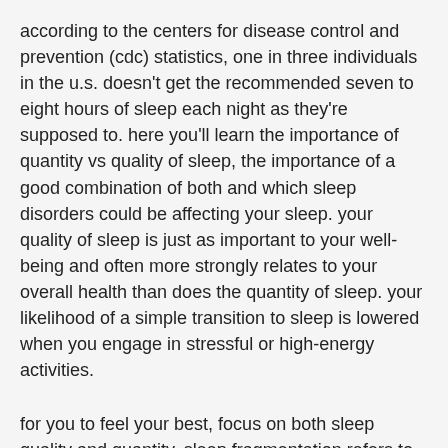according to the centers for disease control and prevention (cdc) statistics, one in three individuals in the u.s. doesn't get the recommended seven to eight hours of sleep each night as they're supposed to. here you'll learn the importance of quantity vs quality of sleep, the importance of a good combination of both and which sleep disorders could be affecting your sleep. your quality of sleep is just as important to your well-being and often more strongly relates to your overall health than does the quantity of sleep. your likelihood of a simple transition to sleep is lowered when you engage in stressful or high-energy activities.
for you to feel your best, focus on both sleep quality and quantity. sleep fragmentation refers to many short arousals during the night. individuals with fragmented sleep have a hard time falling back to sleep after these awakenings, which reduces their total sleep time and causes daytime fatigue. as a sleep technologist, you need to constantly stay up-